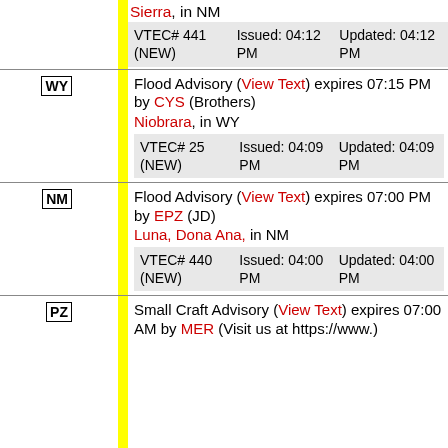Sierra, in NM
| VTEC# 441 (NEW) | Issued: 04:12 PM | Updated: 04:12 PM |
WY — Flood Advisory (View Text) expires 07:15 PM by CYS (Brothers) Niobrara, in WY VTEC# 25 (NEW) Issued: 04:09 PM Updated: 04:09 PM
NM — Flood Advisory (View Text) expires 07:00 PM by EPZ (JD) Luna, Dona Ana, in NM VTEC# 440 (NEW) Issued: 04:00 PM Updated: 04:00 PM
PZ — Small Craft Advisory (View Text) expires 07:00 AM by MER (Visit us at https://www.)